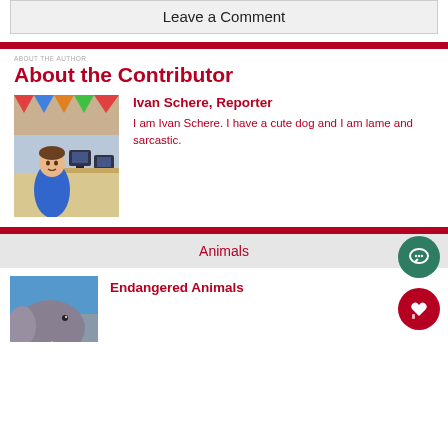Leave a Comment
About the Contributor
[Figure (photo): Photo of Ivan Schere, a boy in a blue shirt standing in a computer lab classroom]
Ivan Schere, Reporter
I am Ivan Schere. I have a cute dog and I am lame and sarcastic.
Animals
[Figure (photo): Photo of an elephant head with tusks against a blue sky]
Endangered Animals